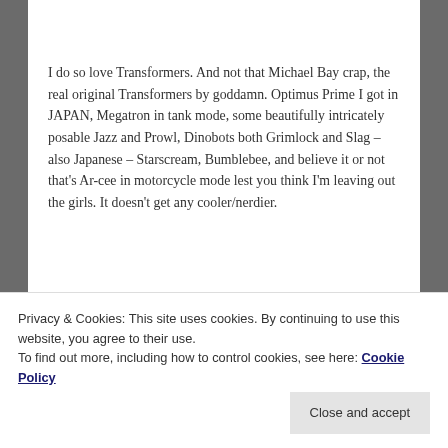I do so love Transformers. And not that Michael Bay crap, the real original Transformers by goddamn. Optimus Prime I got in JAPAN, Megatron in tank mode, some beautifully intricately posable Jazz and Prowl, Dinobots both Grimlock and Slag – also Japanese – Starscream, Bumblebee, and believe it or not that's Ar-cee in motorcycle mode lest you think I'm leaving out the girls. It doesn't get any cooler/nerdier.
Privacy & Cookies: This site uses cookies. By continuing to use this website, you agree to their use. To find out more, including how to control cookies, see here: Cookie Policy